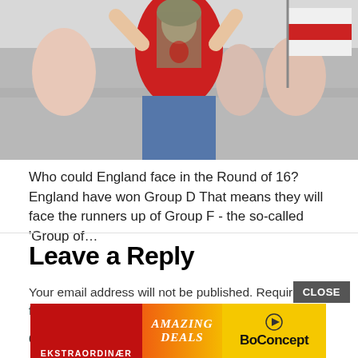[Figure (photo): Photo of a female England fan in a red jersey with long hair, arms raised, holding an England flag, with crowd and barriers in background]
Who could England face in the Round of 16? England have won Group D That means they will face the runners up of Group F - the so-called 'Group of...
Leave a Reply
Your email address will not be published. Required fields are marked *
Comment *
[Figure (screenshot): Advertisement banner: EKSTRAORDINÆR on left in red, AMAZING DEALS in center italic on gradient background, BoConcept logo on right in yellow]